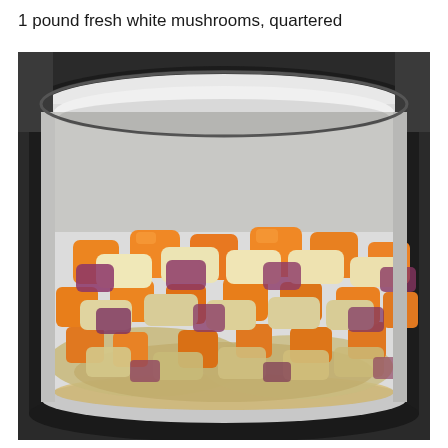1 pound fresh white mushrooms, quartered
[Figure (photo): A large white Dutch oven or pot containing chopped vegetables being sautéed — orange carrots, white onions, and purple/red shallots or red onions. The pot is sitting on a stovetop and the vegetables fill most of the wide pan.]